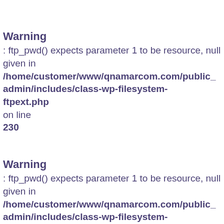Warning
: ftp_pwd() expects parameter 1 to be resource, null given in /home/customer/www/qnamarcom.com/public_admin/includes/class-wp-filesystem-ftpext.php on line 230
Warning
: ftp_pwd() expects parameter 1 to be resource, null given in /home/customer/www/qnamarcom.com/public_admin/includes/class-wp-filesystem-